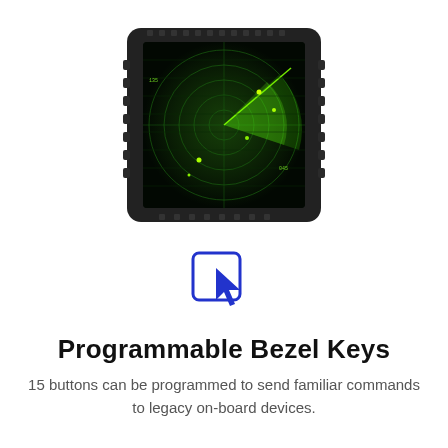[Figure (illustration): A ruggedized military-style display unit with a dark bezel and programmable buttons along the edges. The screen shows a green radar display with sweep lines and targets.]
[Figure (illustration): A blue outline icon of a cursor/pointer arrow inside a rounded square, representing programmable bezel keys interaction.]
Programmable Bezel Keys
15 buttons can be programmed to send familiar commands to legacy on-board devices.